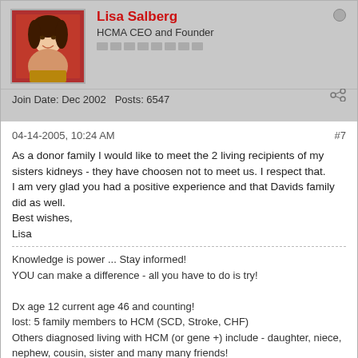[Figure (photo): Profile photo of Lisa Salberg, woman with red background]
Lisa Salberg
HCMA CEO and Founder
Join Date: Dec 2002   Posts: 6547
04-14-2005, 10:24 AM   #7
As a donor family I would like to meet the 2 living recipients of my sisters kidneys - they have choosen not to meet us. I respect that.
I am very glad you had a positive experience and that Davids family did as well.
Best wishes,
Lisa
Knowledge is power ... Stay informed!
YOU can make a difference - all you have to do is try!

Dx age 12 current age 46 and counting!
lost: 5 family members to HCM (SCD, Stroke, CHF)
Others diagnosed living with HCM (or gene +) include - daughter, niece, nephew, cousin, sister and many many friends!
Therapy - ICD (implanted 97, 01, 04 and 11, medication
Currently not obstructed
Complications - unnecessary pacemaker and stroke (unrelated to each other)